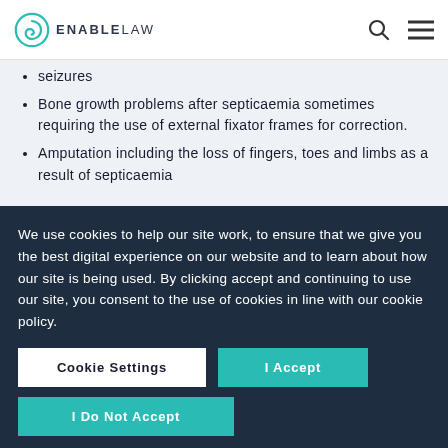Enable Law
seizures
Bone growth problems after septicaemia sometimes requiring the use of external fixator frames for correction.
Amputation including the loss of fingers, toes and limbs as a result of septicaemia
We use cookies to help our site work, to ensure that we give you the best digital experience on our website and to learn about how our site is being used. By clicking accept and continuing to use our site, you consent to the use of cookies in line with our cookie policy.
Cookie Settings | I Accept | I Do Not Accept